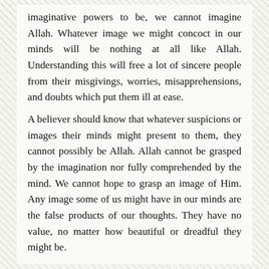imaginative powers to be, we cannot imagine Allah. Whatever image we might concoct in our minds will be nothing at all like Allah. Understanding this will free a lot of sincere people from their misgivings, worries, misapprehensions, and doubts which put them ill at ease.
A believer should know that whatever suspicions or images their minds might present to them, they cannot possibly be Allah. Allah cannot be grasped by the imagination nor fully comprehended by the mind. We cannot hope to grasp an image of Him. Any image some of us might have in our minds are the false products of our thoughts. They have no value, no matter how beautiful or dreadful they might be.
Allah's existence is certainly manifest. This is something our minds can readily grasp and the dictates of reason compel us to accept. Yet, at the